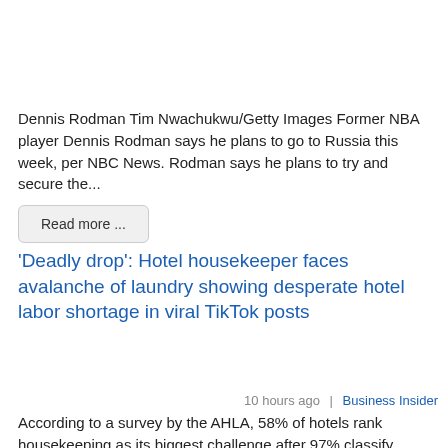Dennis Rodman Tim Nwachukwu/Getty Images Former NBA player Dennis Rodman says he plans to go to Russia this week, per NBC News. Rodman says he plans to try and secure the...
Read more ...
'Deadly drop': Hotel housekeeper faces avalanche of laundry showing desperate hotel labor shortage in viral TikTok posts
10 hours ago  |  Business Insider
According to a survey by the AHLA, 58% of hotels rank housekeeping as its biggest challenge after 97% classify themselves as understaffed. Kasea Zeiber/TikTok An AHLA survey...